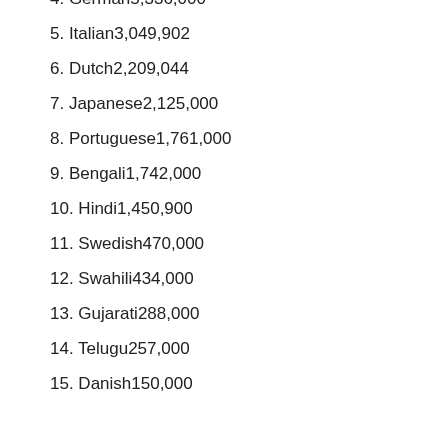4. German5,336,000
5. Italian3,049,902
6. Dutch2,209,044
7. Japanese2,125,000
8. Portuguese1,761,000
9. Bengali1,742,000
10. Hindi1,450,900
11. Swedish470,000
12. Swahili434,000
13. Gujarati288,000
14. Telugu257,000
15. Danish150,000